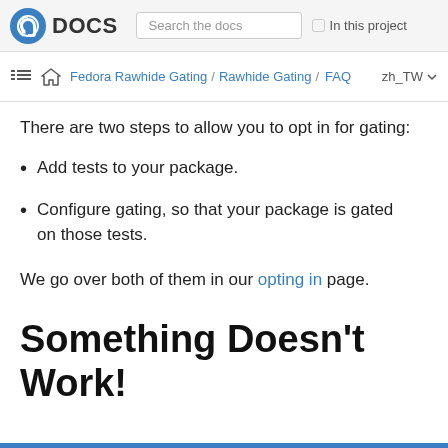DOCS | Search the docs | In this project
Fedora Rawhide Gating / Rawhide Gating / FAQ | zh_TW
There are two steps to allow you to opt in for gating:
Add tests to your package.
Configure gating, so that your package is gated on those tests.
We go over both of them in our opting in page.
Something Doesn’t Work!